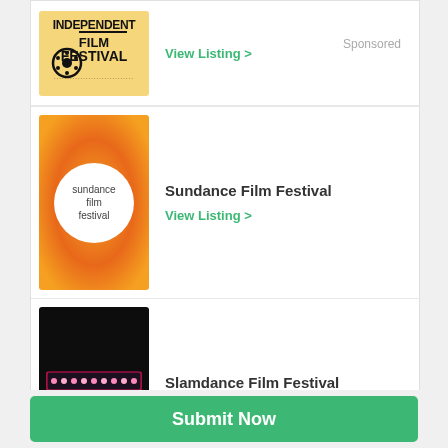[Figure (logo): Independent Film Festival logo on yellow background, partially cropped at top]
View Listing >
Sponsored
[Figure (logo): Sundance Film Festival logo — orange gradient background with white circle containing text 'sundance film festival']
Sundance Film Festival
View Listing >
[Figure (logo): Slamdance Film Festival logo — black background with illuminated marquee sign reading SLAMDANCE]
Slamdance Film Festival
View Listing >
Submit Now